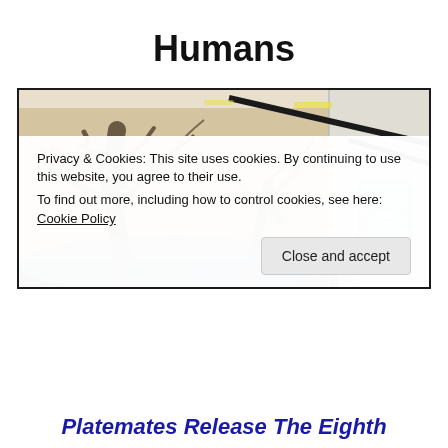Humans
[Figure (photo): Art gallery interior with a large mural covering the walls depicting bare winter trees in muted brown and blue tones. A small blue canvas painting is visible on the right wall. Track lighting on the ceiling.]
Privacy & Cookies: This site uses cookies. By continuing to use this website, you agree to their use.
To find out more, including how to control cookies, see here: Cookie Policy
Platemates Release The Eighth